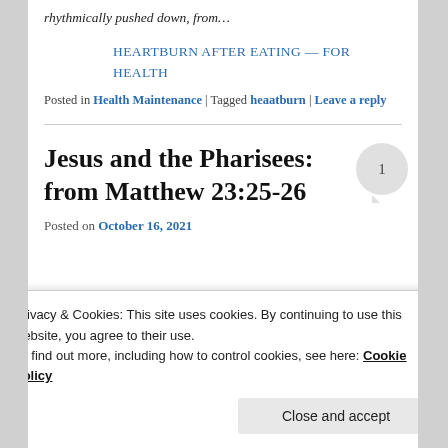rhythmically pushed down, from…
HEARTBURN AFTER EATING — FOR HEALTH
Posted in Health Maintenance | Tagged heaatburn | Leave a reply
Jesus and the Pharisees: from Matthew 23:25-26
Posted on October 16, 2021
Privacy & Cookies: This site uses cookies. By continuing to use this website, you agree to their use.
To find out more, including how to control cookies, see here: Cookie Policy